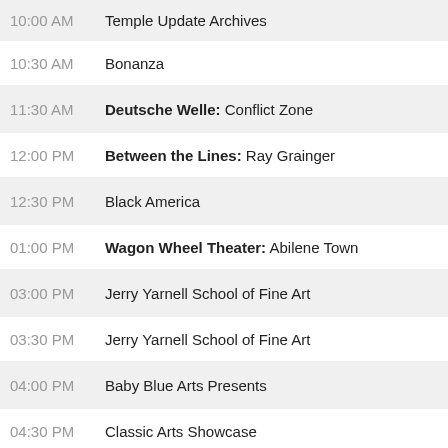10:00 AM  Temple Update Archives
10:30 AM  Bonanza
11:30 AM  Deutsche Welle: Conflict Zone
12:00 PM  Between the Lines: Ray Grainger
12:30 PM  Black America
01:00 PM  Wagon Wheel Theater: Abilene Town
03:00 PM  Jerry Yarnell School of Fine Art
03:30 PM  Jerry Yarnell School of Fine Art
04:00 PM  Baby Blue Arts Presents
04:30 PM  Classic Arts Showcase